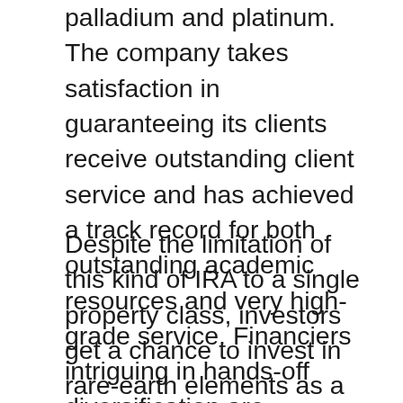palladium and platinum. The company takes satisfaction in guaranteeing its clients receive outstanding client service and has achieved a track record for both outstanding academic resources and very high-grade service. Financiers intriguing in hands-off diversification are outstanding candidates for a Silver or Gold IRA.
Despite the limitation of this kind of IRA to a single property class, investors get a chance to invest in rare-earth elements as a bush for paper investments. This is various than purchasing funds, supplies or bonds because the need to spend time executing market research to determine the most effective financial investments for a rare-earth elements IRA has actually been eliminated.